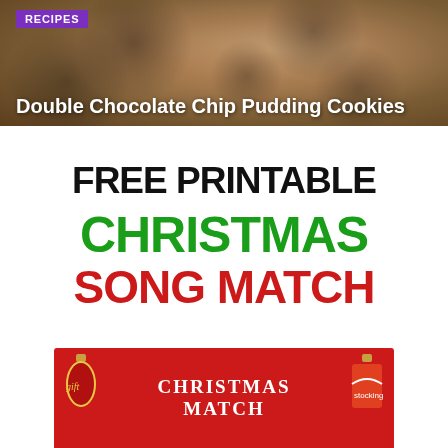[Figure (photo): Close-up photo of chocolate chip pudding cookies, dark brown baked cookies with chocolate chips visible]
RECIPES
Double Chocolate Chip Pudding Cookies
[Figure (infographic): Free Printable Christmas Song Match game promotional graphic with large bold text in black, green, and red, plus a red card preview at the bottom showing 'CHRISTMAS MATCH']